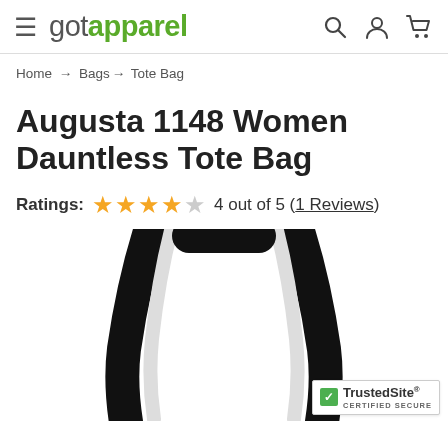gotapparel
Home → Bags → Tote Bag
Augusta 1148 Women Dauntless Tote Bag
Ratings: 4 out of 5 (1 Reviews)
[Figure (photo): Black tote bag handles shown from above on white background]
[Figure (logo): TrustedSite Certified Secure badge]